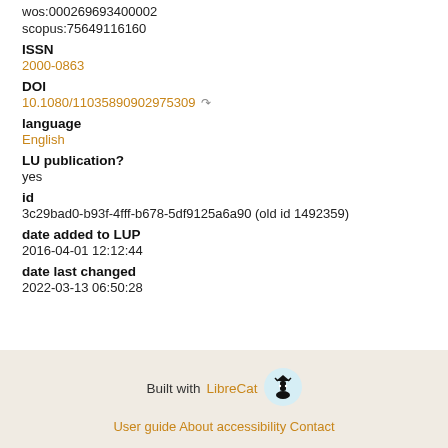wos:000269693400002
scopus:75649116160
ISSN
2000-0863
DOI
10.1080/11035890902975309
language
English
LU publication?
yes
id
3c29bad0-b93f-4fff-b678-5df9125a6a90 (old id 1492359)
date added to LUP
2016-04-01 12:12:44
date last changed
2022-03-13 06:50:28
Built with LibreCat | User guide About accessibility Contact